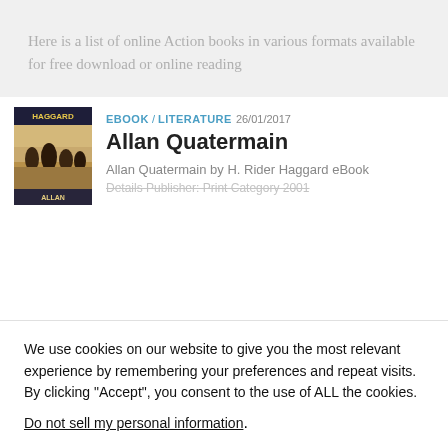Here is a list of online Action books in various formats available for free download or online reading
EBOOK / LITERATURE 26/01/2017
Allan Quatermain
Allan Quatermain by H. Rider Haggard eBook Details Publisher: Print Category 2001
We use cookies on our website to give you the most relevant experience by remembering your preferences and repeat visits. By clicking “Accept”, you consent to the use of ALL the cookies.
Do not sell my personal information.